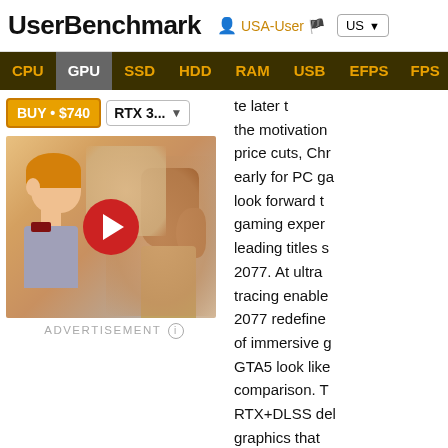UserBenchmark  USA-User  US
CPU  GPU  SSD  HDD  RAM  USB  EFPS  FPS  SK
[Figure (screenshot): Video thumbnail showing animated cartoon characters with a YouTube play button overlay, BUY • $740 button and RTX 3... model dropdown above it]
ADVERTISEMENT
te later t the motivation price cuts, Chr early for PC ga look forward t gaming exper leading titles s 2077. At ultra tracing enable 2077 redefine of immersive g GTA5 look like comparison. T RTX+DLSS del graphics that